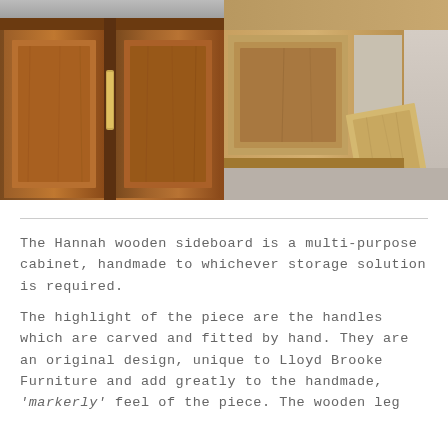[Figure (photo): Two photos side by side of wooden furniture: left photo shows close-up of wooden cabinet doors with a slim brass handle; right photo shows a wooden sideboard with open compartment and a loose wooden panel leaning against it.]
The Hannah wooden sideboard is a multi-purpose cabinet, handmade to whichever storage solution is required.
The highlight of the piece are the handles which are carved and fitted by hand. They are an original design, unique to Lloyd Brooke Furniture and add greatly to the handmade, 'markerly' feel of the piece. The wooden leg...